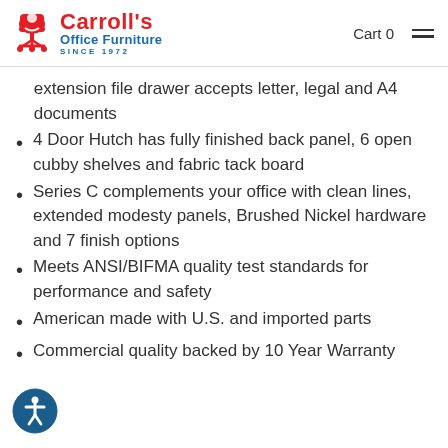Carroll's Office Furniture SINCE 1972 | Cart 0
extension file drawer accepts letter, legal and A4 documents
4 Door Hutch has fully finished back panel, 6 open cubby shelves and fabric tack board
Series C complements your office with clean lines, extended modesty panels, Brushed Nickel hardware and 7 finish options
Meets ANSI/BIFMA quality test standards for performance and safety
American made with U.S. and imported parts
Commercial quality backed by 10 Year Warranty